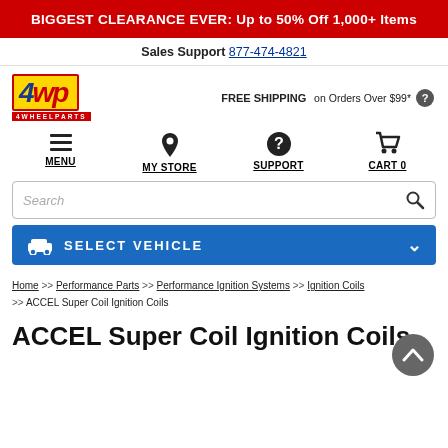BIGGEST CLEARANCE EVER: Up to 50% Off 1,000+ Items
Sales Support 877-474-4821
[Figure (logo): 4WP 4 Wheel Parts logo in yellow box with red border, red underline and '4WHEELPARTS' text]
FREE SHIPPING on Orders Over $99*
MENU
MY STORE
SUPPORT
CART 0
Search
SELECT VEHICLE
Home >> Performance Parts >> Performance Ignition Systems >> Ignition Coils >> ACCEL Super Coil Ignition Coils
ACCEL Super Coil Ignition Coils